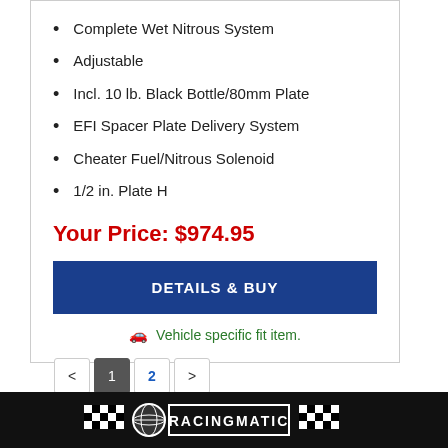Complete Wet Nitrous System
Adjustable
Incl. 10 lb. Black Bottle/80mm Plate
EFI Spacer Plate Delivery System
Cheater Fuel/Nitrous Solenoid
1/2 in. Plate H
Your Price: $974.95
DETAILS & BUY
Vehicle specific fit item.
< 1 2 >
[Figure (logo): Racingmation logo with checkered flags and globe on black footer bar]